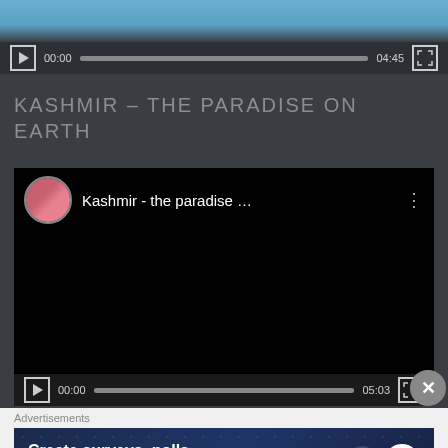[Figure (screenshot): Video player thumbnail showing blue sky and figure, with controls bar showing 00:00 and 04:45]
KASHMIR – THE PARADISE ON EARTH
[Figure (screenshot): Embedded YouTube-style video player with black background, showing avatar of woman in pink dress, title 'Kashmir - the paradise ...' and controls showing 00:00 and 05:03]
Advertisements
[Figure (screenshot): Advertisement banner: 'Create surveys, polls, quizzes, and forms.' with WordPress and TrustedScan icons on dark blue starry background]